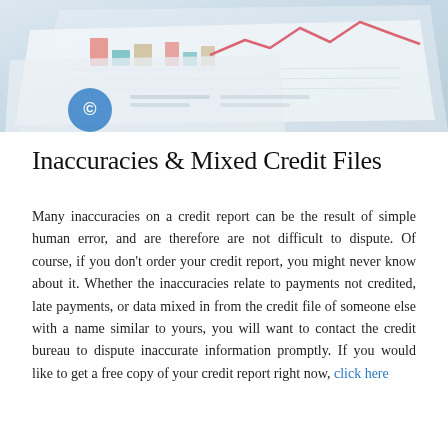[Figure (photo): Overhead photo of financial charts and graphs on paper with a line chart showing a red/pink trend line, colored bar chart segments (coral, teal, tan), and a blue circular icon visible, all slightly blurred]
Inaccuracies & Mixed Credit Files
Many inaccuracies on a credit report can be the result of simple human error, and are therefore are not difficult to dispute. Of course, if you don't order your credit report, you might never know about it. Whether the inaccuracies relate to payments not credited, late payments, or data mixed in from the credit file of someone else with a name similar to yours, you will want to contact the credit bureau to dispute inaccurate information promptly. If you would like to get a free copy of your credit report right now, click here